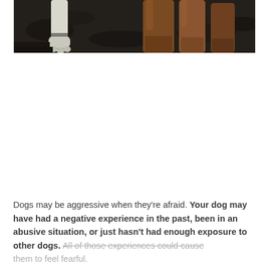[Figure (photo): Partial photo of dogs — visible are a white dog leg/paw on the left and brown dog legs on the right, against a dark soil/ground background. The image is cropped, showing only the lower portion of the dogs.]
Dogs may be aggressive when they're afraid. Your dog may have had a negative experience in the past, been in an abusive situation, or just hasn't had enough exposure to other dogs. All of those experiences could cause them to feel fearful.